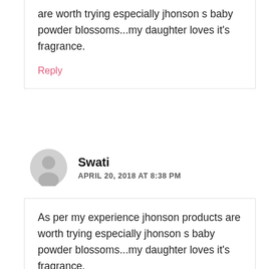are worth trying especially jhonson s baby powder blossoms...my daughter loves it's fragrance.
Reply
Swati
APRIL 20, 2018 AT 8:38 PM
As per my experience jhonson products are worth trying especially jhonson s baby powder blossoms...my daughter loves it's fragrance.